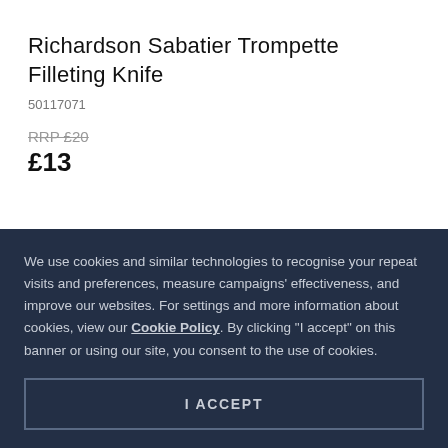Richardson Sabatier Trompette Filleting Knife
50117071
RRP £20
£13
We use cookies and similar technologies to recognise your repeat visits and preferences, measure campaigns' effectiveness, and improve our websites. For settings and more information about cookies, view our Cookie Policy. By clicking "I accept" on this banner or using our site, you consent to the use of cookies.
I ACCEPT